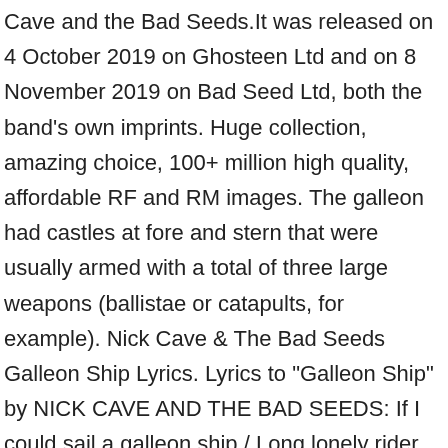Cave and the Bad Seeds.It was released on 4 October 2019 on Ghosteen Ltd and on 8 November 2019 on Bad Seed Ltd, both the band's own imprints. Huge collection, amazing choice, 100+ million high quality, affordable RF and RM images. The galleon had castles at fore and stern that were usually armed with a total of three large weapons (ballistae or catapults, for example). Nick Cave & The Bad Seeds Galleon Ship Lyrics. Lyrics to "Galleon Ship" by NICK CAVE AND THE BAD SEEDS: If I could sail a galleon ship / Long lonely rider across the sky / Seek out mysteries while you sleep / And treasures money cannot buy / For you know I see you everywhere / A servant girl, an empress / My galleon ship will fly … The name derived from “galley,” which had come to be synonymous with “war vessel” and whose characteristic beaked prow the new